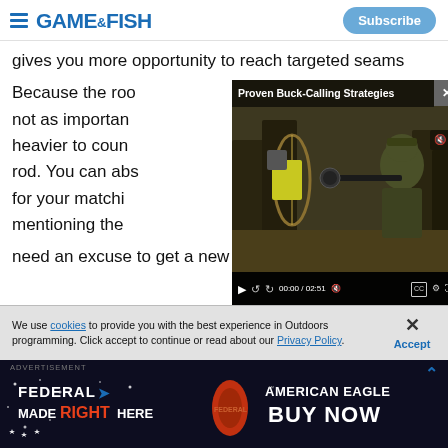Game & Fish — Subscribe
gives you more opportunity to reach targeted seams
Because the roo... not as importan... heavier to coun... rod. You can abs... for your matchi... mentioning the... need an excuse to get a new reel?
[Figure (screenshot): Video overlay titled 'Proven Buck-Calling Strategies' showing a hunter in camouflage aiming with a gun in a woodland setting. Video controls show 00:00 / 02:51 with playback controls and CC button. A close (X) button appears in the top right corner of the video.]
We use cookies to provide you with the best experience in Outdoors programming. Click accept to continue or read about our Privacy Policy.
[Figure (screenshot): Federal American Eagle advertisement banner with red and dark background. Text reads: FEDERAL MADE RIGHT HERE — AMERICAN EAGLE BUY NOW]